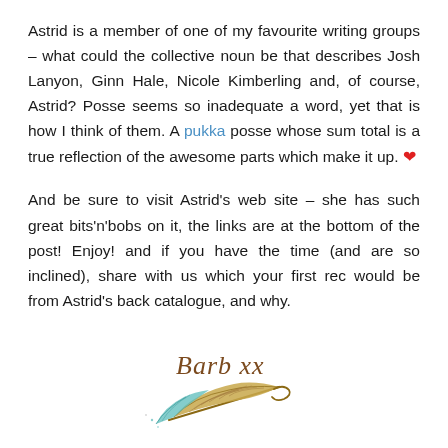Astrid is a member of one of my favourite writing groups – what could the collective noun be that describes Josh Lanyon, Ginn Hale, Nicole Kimberling and, of course, Astrid? Posse seems so inadequate a word, yet that is how I think of them. A pukka posse whose sum total is a true reflection of the awesome parts which make it up. ❤
And be sure to visit Astrid's web site – she has such great bits'n'bobs on it, the links are at the bottom of the post! Enjoy! and if you have the time (and are so inclined), share with us which your first rec would be from Astrid's back catalogue, and why.
[Figure (illustration): Handwritten-style cursive signature reading 'Barb xx' with a decorative feather illustration beneath it in teal and brown colors]